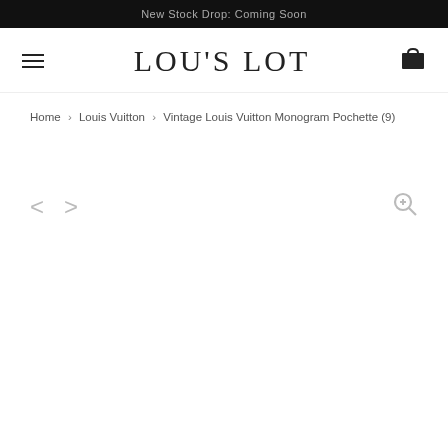New Stock Drop: Coming Soon
LOU'S LOT
Home › Louis Vuitton › Vintage Louis Vuitton Monogram Pochette (9)
[Figure (screenshot): Product image viewer area with left/right navigation arrows and a zoom icon, currently showing a blank/empty product image area for Vintage Louis Vuitton Monogram Pochette]